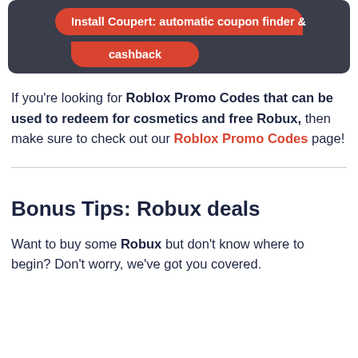[Figure (screenshot): Dark banner with red pill-shaped button saying 'Install Coupert: automatic coupon finder & cashback']
If you're looking for Roblox Promo Codes that can be used to redeem for cosmetics and free Robux, then make sure to check out our Roblox Promo Codes page!
Bonus Tips: Robux deals
Want to buy some Robux but don't know where to begin? Don't worry, we've got you covered.